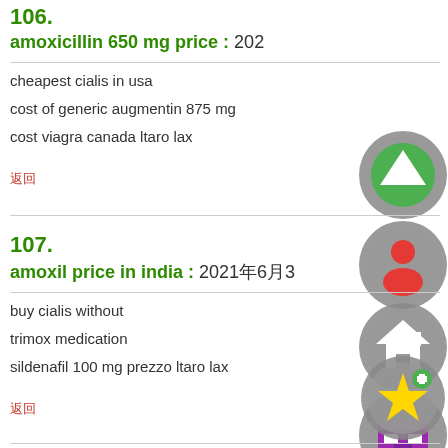106.
amoxicillin 650 mg price : 202...
cheapest cialis in usa
cost of generic augmentin 875 mg
cost viagra canada ltaro lax
返回
[Figure (illustration): Gray circle with green upward arrow icon]
[Figure (illustration): Gray circle with house/home icon]
107.
amoxil price in india : 2021年6月3...
buy cialis without
trimox medication
sildenafil 100 mg prezzo ltaro lax
返回
[Figure (illustration): Gray circle with red person/user icon]
[Figure (illustration): Gray circle with purple storefront/shop icon]
[Figure (illustration): Gray circle with yellow star plus icon]